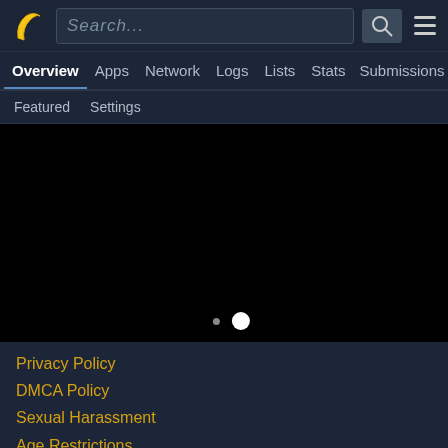[Figure (screenshot): App header bar with banana logo, search box, search button, and hamburger menu]
Overview  Apps  Network  Logs  Lists  Stats  Submissions
Featured  Settings
[Figure (other): Black carousel/content area with two navigation dots]
Privacy Policy
DMCA Policy
Sexual Harassment
Age Restrictions
[Figure (infographic): Advertisement banner: King Bed For A Queen Price Now — Mattress Firm Potomac Run Plaza, with play button, Mattress Firm logo, and navigation arrow icon]